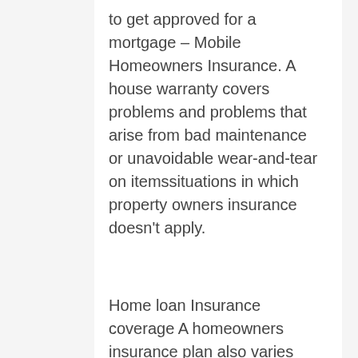to get approved for a mortgage – Mobile Homeowners Insurance. A house warranty covers problems and problems that arise from bad maintenance or unavoidable wear-and-tear on itemssituations in which property owners insurance doesn't apply.
Home loan Insurance coverage A homeowners insurance plan also varies from mortgage insurance